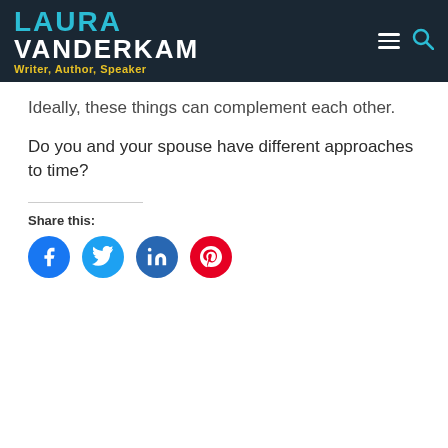LAURA VANDERKAM · Writer, Author, Speaker
Ideally, these things can complement each other.
Do you and your spouse have different approaches to time?
Share this:
[Figure (illustration): Four social share buttons: Facebook (blue circle), Twitter (light blue circle), LinkedIn (dark blue circle), Pinterest (red circle)]